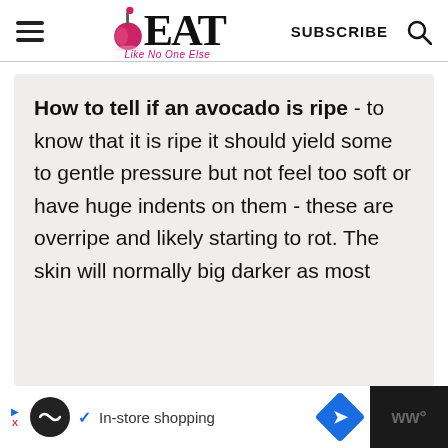EAT Like No One Else — SUBSCRIBE
How to tell if an avocado is ripe - to know that it is ripe it should yield some to gentle pressure but not feel too soft or have huge indents on them - these are overripe and likely starting to rot. The skin will normally big darker as most
[Figure (other): Advertisement bar at bottom: In-store shopping ad with icons]